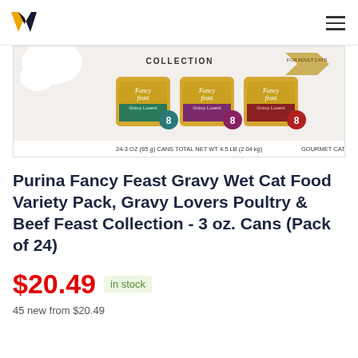W [logo] [hamburger menu]
[Figure (photo): Product image of Purina Fancy Feast Gravy Lovers Poultry & Beef Feast Collection variety pack showing three gold cans each with 8 servings, labeled '24-3 OZ (85g) CANS TOTAL NET WT 4.5 LB (2.04 kg)' and 'GOURMET CAT FOOD']
Purina Fancy Feast Gravy Wet Cat Food Variety Pack, Gravy Lovers Poultry & Beef Feast Collection - 3 oz. Cans (Pack of 24)
$20.49  in stock
45 new from $20.49